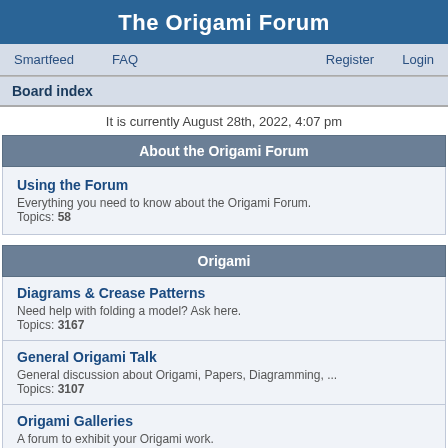The Origami Forum
Smartfeed   FAQ   Register   Login
Board index
It is currently August 28th, 2022, 4:07 pm
About the Origami Forum
Using the Forum
Everything you need to know about the Origami Forum.
Topics: 58
Origami
Diagrams & Crease Patterns
Need help with folding a model? Ask here.
Topics: 3167
General Origami Talk
General discussion about Origami, Papers, Diagramming, ...
Topics: 3107
Origami Galleries
A forum to exhibit your Origami work.
Topics: 462
Origami Clubs and Websites
Useful Information about Origami Societies, Meetings and Websites.
Topics: 464